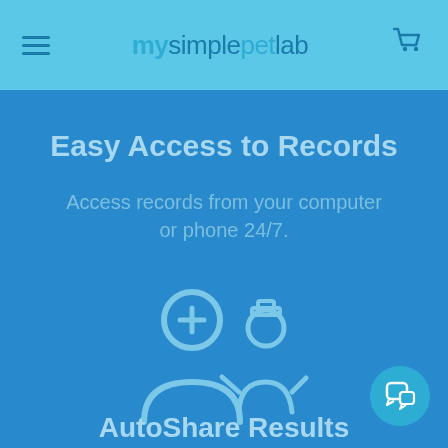mysimplepetlab
Easy Access to Records
Access records from your computer or phone 24/7.
[Figure (illustration): Icon of a person with a plus sign and a veterinarian/person icon, representing account sharing or user management]
AutoShare Results